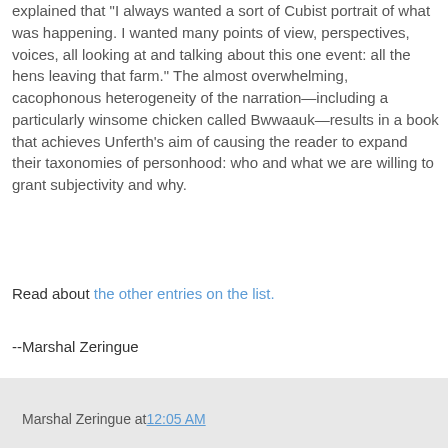explained that "I always wanted a sort of Cubist portrait of what was happening. I wanted many points of view, perspectives, voices, all looking at and talking about this one event: all the hens leaving that farm." The almost overwhelming, cacophonous heterogeneity of the narration—including a particularly winsome chicken called Bwwaauk—results in a book that achieves Unferth's aim of causing the reader to expand their taxonomies of personhood: who and what we are willing to grant subjectivity and why.
Read about the other entries on the list.
--Marshal Zeringue
Marshal Zeringue at 12:05 AM
Saturday, August 15, 2020
Seven thrillers about filmmakers & subversive art